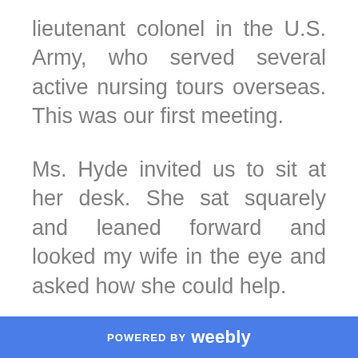lieutenant colonel in the U.S. Army, who served several active nursing tours overseas. This was our first meeting.
Ms. Hyde invited us to sit at her desk. She sat squarely and leaned forward and looked my wife in the eye and asked how she could help.
I had a flashback to three years in
POWERED BY weebly